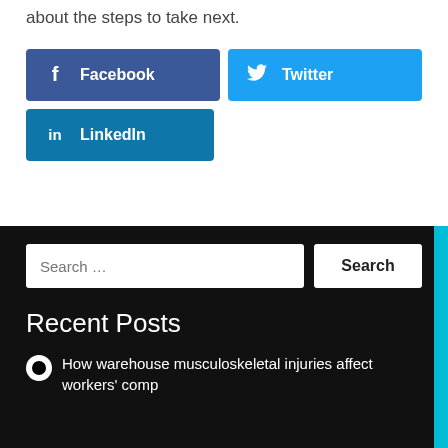denied, your attorney can talk to you more about the steps to take next.
[Figure (other): Social sharing buttons: Facebook (dark blue), Twitter (light blue), LinkedIn (teal blue)]
Recent Posts
How warehouse musculoskeletal injuries affect workers' comp